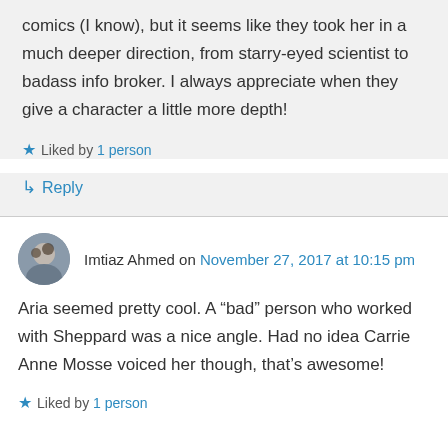comics (I know), but it seems like they took her in a much deeper direction, from starry-eyed scientist to badass info broker. I always appreciate when they give a character a little more depth!
★ Liked by 1 person
↳ Reply
Imtiaz Ahmed on November 27, 2017 at 10:15 pm
Aria seemed pretty cool. A "bad" person who worked with Sheppard was a nice angle. Had no idea Carrie Anne Mosse voiced her though, that's awesome!
★ Liked by 1 person